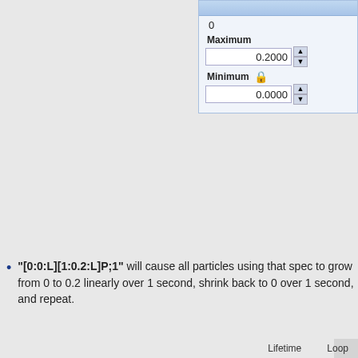[Figure (screenshot): Software UI panel showing Maximum value 0.2000 and Minimum value 0.0000 with spin buttons and a lock icon]
"[0:0:L][1:0.2:L]P;1" will cause all particles using that spec to grow from 0 to 0.2 linearly over 1 second, shrink back to 0 over 1 second, and repeat.
[Figure (screenshot): Intensity panel with Type: Timeline dropdown and a timeline chart showing a flat area from 100 down to near 0, with a blue dot at lower left and red line near bottom. Labels: 100, 0, Lifetime, Loop]